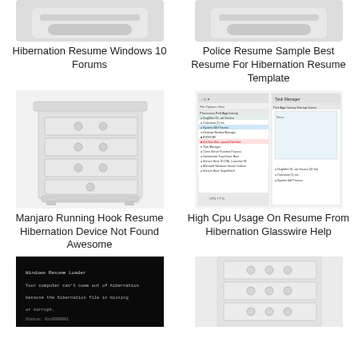[Figure (photo): Partial top of white dresser/furniture item, cropped at top of page]
Hibernation Resume Windows 10 Forums
[Figure (photo): Partial top of white furniture/dresser item, cropped at top of page]
Police Resume Sample Best Resume For Hibernation Resume Template
[Figure (photo): White chest of drawers / dresser with round handles]
Manjaro Running Hook Resume Hibernation Device Not Found Awesome
[Figure (screenshot): Windows Task Manager screenshot showing services list with high CPU usage]
High Cpu Usage On Resume From Hibernation Glasswire Help
[Figure (photo): Dark screen showing Windows hibernation error text on black background]
[Figure (photo): Partial white dresser/chest of drawers with round handles, cropped at bottom]